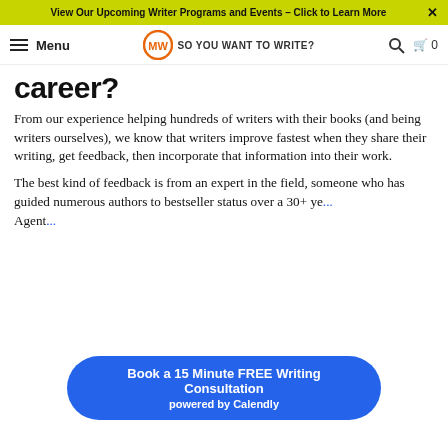View Our Upcoming Writer Programs and Events – Click to Learn More
Menu | SO YOU WANT TO WRITE? | Search | Cart 0
career?
From our experience helping hundreds of writers with their books (and being writers ourselves), we know that writers improve fastest when they share their writing, get feedback, then incorporate that information into their work.
The best kind of feedback is from an expert in the field, someone who has guided numerous authors to bestseller status over a 30+ ye... Agent...
[Figure (other): Blue rounded button overlay: 'Book a 15 Minute FREE Writing Consultation powered by Calendly']